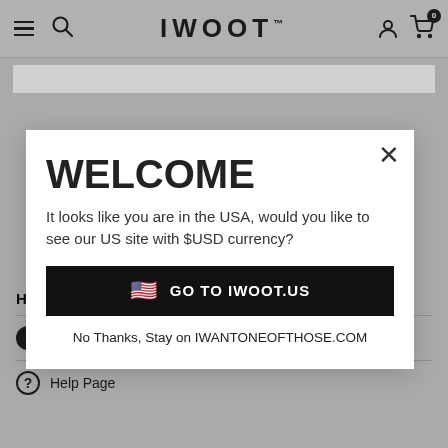IWOOT™
[Figure (screenshot): IWOOT website navigation bar with hamburger menu, search icon, IWOOT logo, user icon, and cart icon with badge showing 0]
WELCOME
It looks like you are in the USA, would you like to see our US site with $USD currency?
GO TO IWOOT.US
No Thanks, Stay on IWANTONEOFTHOSE.COM
Help & Information
Contact Us
Help Page